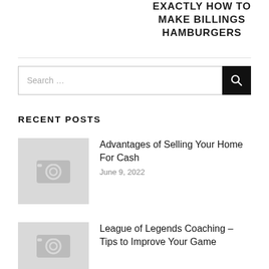EXACTLY HOW TO MAKE BILLINGS HAMBURGERS
[Figure (other): Search bar with search button]
RECENT POSTS
[Figure (photo): Placeholder image thumbnail with camera icon]
Advantages of Selling Your Home For Cash
June 9, 2022
[Figure (photo): Placeholder image thumbnail with camera icon]
League of Legends Coaching – Tips to Improve Your Game